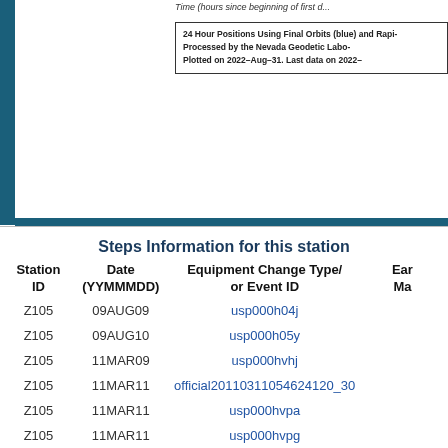Time (hours since beginning of first d...
24 Hour Positions Using Final Orbits (blue) and Rapi... Processed by the Nevada Geodetic Labo... Plotted on 2022-Aug-31. Last data on 2022...
Steps Information for this station
| Station ID | Date (YYMMMDD) | Equipment Change Type/ or Event ID | Ea... Ma... |
| --- | --- | --- | --- |
| Z105 | 09AUG09 | usp000h04j |  |
| Z105 | 09AUG10 | usp000h05y |  |
| Z105 | 11MAR09 | usp000hvhj |  |
| Z105 | 11MAR11 | official20110311054624120_30 |  |
| Z105 | 11MAR11 | usp000hvpa |  |
| Z105 | 11MAR11 | usp000hvpg |  |
| Z105 | 15MAY30 | us20002ki3 |  |
| Z105 | 16APR01 | us20005du0 |  |